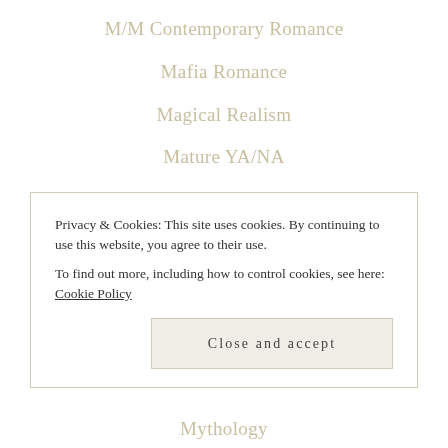M/M Contemporary Romance
Mafia Romance
Magical Realism
Mature YA/NA
MC Romance
Memoir
Ménage
Military Romance
MM Romance
Privacy & Cookies: This site uses cookies. By continuing to use this website, you agree to their use.
To find out more, including how to control cookies, see here: Cookie Policy
Close and accept
Mythology